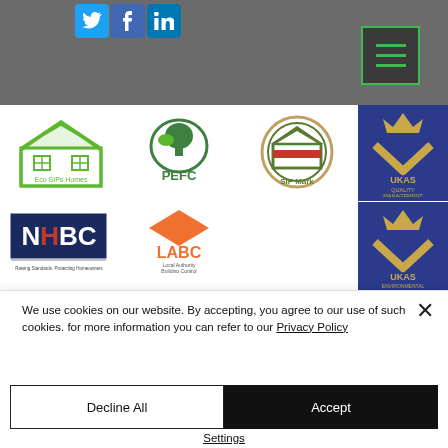[Figure (screenshot): Website header banner with social media icons (Twitter, Facebook, LinkedIn) and a green hamburger menu button on dark grey background]
[Figure (logo): Row of accreditation and partner logos: Eco SIPs Homes, PEFC, SIP Mark, NHBC, LABC Local Authority Building Control, UKAS Quality Management, UKAS Environmental Management]
We use cookies on our website. By accepting, you agree to our use of such cookies. for more information you can refer to our Privacy Policy
Decline All
Accept
Settings